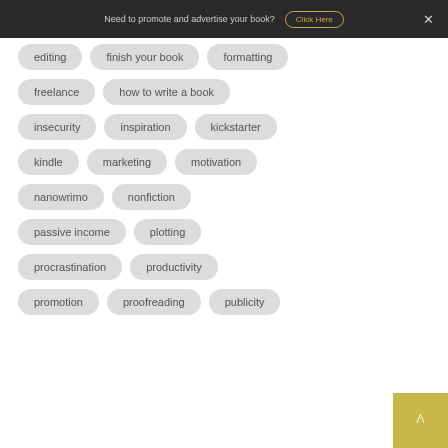Need to promote and advertise your book? Click Here ×
editing
finish your book
formatting
freelance
how to write a book
insecurity
inspiration
kickstarter
kindle
marketing
motivation
nanowrimo
nonfiction
passive income
plotting
procrastination
productivity
promotion
proofreading
publicity